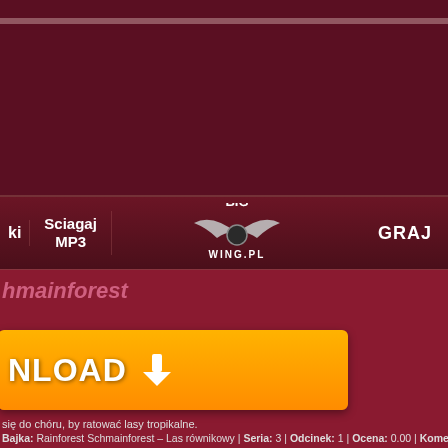BIG WING.PL
Sciagaj MP3 | BIG WING.PL | GRAJ
hmainforest
[Figure (screenshot): Orange download button with white NLOAD text and down arrow icon]
się do chóru, by ratować lasy tropikalne.
Bajka: Rainforest Schmainforest – Las równikowy | Seria: 3 | Odcinek: 1 | Ocena: 0.00 | Komenatarzy: 0 |
działa >>